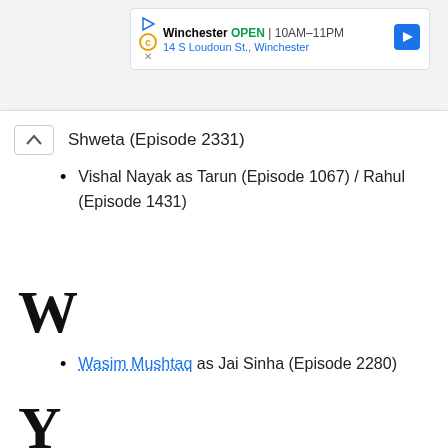[Figure (screenshot): Google Maps ad banner showing Winchester restaurant: OPEN 10AM-11PM, 14 S Loudoun St., Winchester, with navigation icon]
Shweta (Episode 2331)
Vishal Nayak as Tarun (Episode 1067) / Rahul (Episode 1431)
W
Wasim Mushtaq as Jai Sinha (Episode 2280)
Y